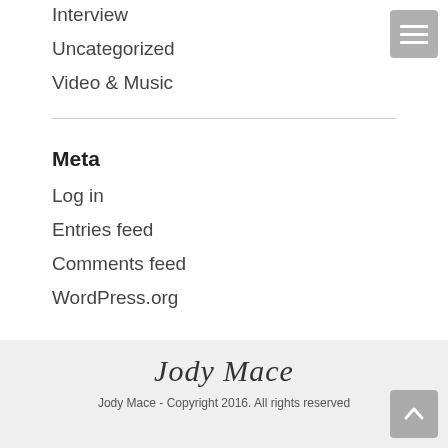Interview
Uncategorized
Video & Music
Meta
Log in
Entries feed
Comments feed
WordPress.org
Jody Mace
Jody Mace - Copyright 2016. All rights reserved